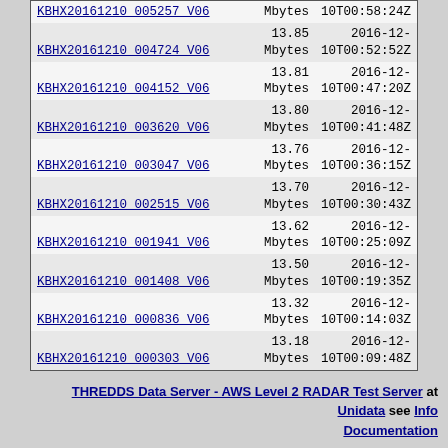| Name | Size | Date |
| --- | --- | --- |
| KBHX20161210 005257 V06 | Mbytes | 10T00:58:24Z |
| KBHX20161210 004724 V06 | 13.85 Mbytes | 2016-12-10T00:52:52Z |
| KBHX20161210 004152 V06 | 13.81 Mbytes | 2016-12-10T00:47:20Z |
| KBHX20161210 003620 V06 | 13.80 Mbytes | 2016-12-10T00:41:48Z |
| KBHX20161210 003047 V06 | 13.76 Mbytes | 2016-12-10T00:36:15Z |
| KBHX20161210 002515 V06 | 13.70 Mbytes | 2016-12-10T00:30:43Z |
| KBHX20161210 001941 V06 | 13.62 Mbytes | 2016-12-10T00:25:09Z |
| KBHX20161210 001408 V06 | 13.50 Mbytes | 2016-12-10T00:19:35Z |
| KBHX20161210 000836 V06 | 13.32 Mbytes | 2016-12-10T00:14:03Z |
| KBHX20161210 000303 V06 | 13.18 Mbytes | 2016-12-10T00:09:48Z |
THREDDS Data Server - AWS Level 2 RADAR Test Server at Unidata see Info Documentation